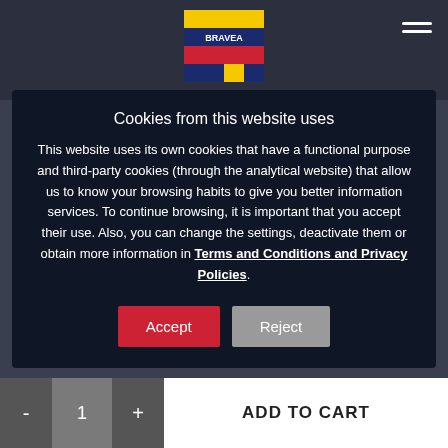[Figure (logo): Colorful logo with yellow, red, and blue pixel/flag design]
Cookies from this website uses
This website uses its own cookies that have a functional purpose and third-party cookies (through the analytical website) that allow us to know your browsing habits to give you better information services. To continue browsing, it is important that you accept their use. Also, you can change the settings, deactivate them or obtain more information in Terms and Conditions and Privacy Policies.
Accept
Reject
What We Do
- 1 + ADD TO CART